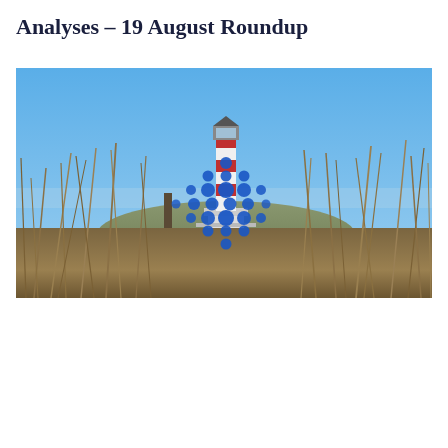Analyses – 19 August Roundup
[Figure (photo): Photograph of a red and white striped lighthouse in the background, viewed through tall dry grass in the foreground. A blue Cardano (ADA) cryptocurrency logo is overlaid in the center of the image. The sky is clear blue.]